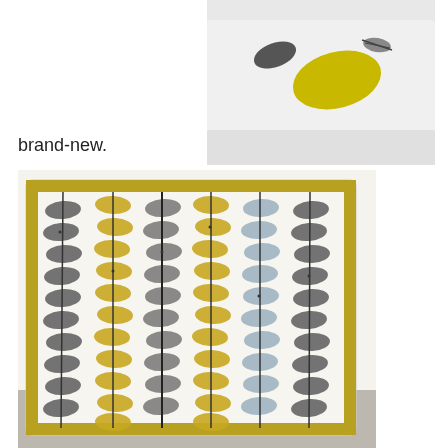[Figure (photo): Top partial image showing a decorative pillow/cushion with bird and leaf pattern in yellow and grey on white background, partially cropped at top of page.]
brand-new.
[Figure (photo): Large square decorative cushion/pillow with a repeating oval leaf pattern in yellow/mustard, grey, and light blue on a white fabric background, standing upright against a cream wall on a carpeted floor.]